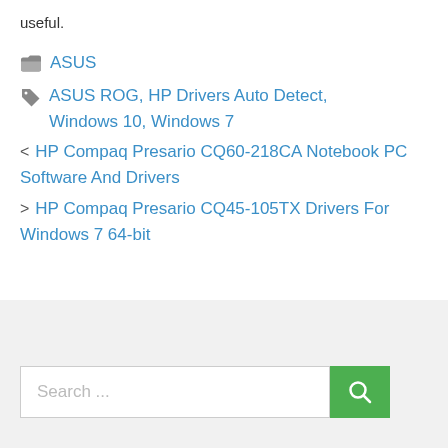useful.
ASUS
ASUS ROG, HP Drivers Auto Detect, Windows 10, Windows 7
< HP Compaq Presario CQ60-218CA Notebook PC Software And Drivers
> HP Compaq Presario CQ45-105TX Drivers For Windows 7 64-bit
Search ...